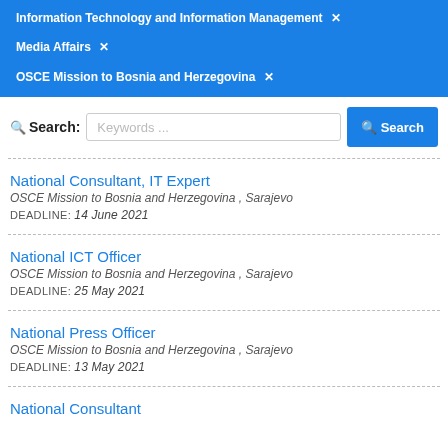Information Technology and Information Management ✕
Media Affairs ✕
OSCE Mission to Bosnia and Herzegovina ✕
Search: Keywords ... Search
National Consultant, IT Expert
OSCE Mission to Bosnia and Herzegovina , Sarajevo
DEADLINE: 14 June 2021
National ICT Officer
OSCE Mission to Bosnia and Herzegovina , Sarajevo
DEADLINE: 25 May 2021
National Press Officer
OSCE Mission to Bosnia and Herzegovina , Sarajevo
DEADLINE: 13 May 2021
National Consultant